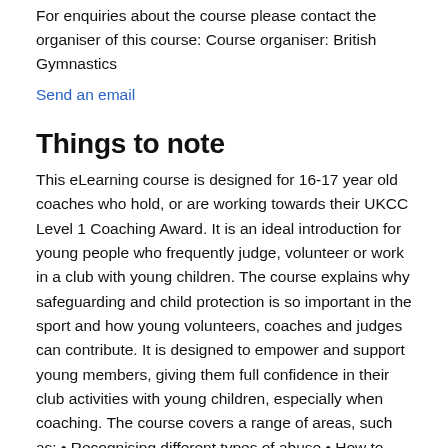For enquiries about the course please contact the organiser of this course: Course organiser: British Gymnastics
Send an email
Things to note
This eLearning course is designed for 16-17 year old coaches who hold, or are working towards their UKCC Level 1 Coaching Award. It is an ideal introduction for young people who frequently judge, volunteer or work in a club with young children. The course explains why safeguarding and child protection is so important in the sport and how young volunteers, coaches and judges can contribute. It is designed to empower and support young members, giving them full confidence in their club activities with young children, especially when coaching. The course covers a range of areas, such as: • Recognising different types of abuse • How to respond if a child discloses any welfare issues • Where you can go to find help and support • Tips on best practice when coaching The course should only take around 30-40 minutes to complete, finishing with a short quiz at the end. Please note that this course does not replace the Safeguarding and Child